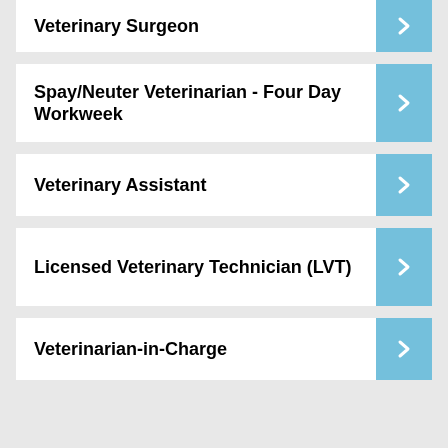Veterinary Surgeon
Spay/Neuter Veterinarian - Four Day Workweek
Veterinary Assistant
Licensed Veterinary Technician (LVT)
Veterinarian-in-Charge